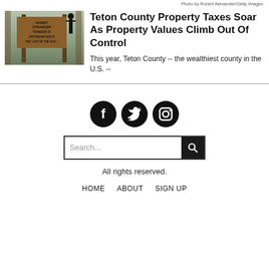Photo by Robert Alexander/Getty Images
[Figure (photo): Wooden sign reading HOWDY STRANGER TONDER IS JACKSON HOLE with a silhouette figure, surrounded by forest trees]
Teton County Property Taxes Soar As Property Values Climb Out Of Control
This year, Teton County -- the wealthiest county in the U.S. --
[Figure (illustration): Social media icons: Facebook, Twitter, Instagram]
Search...
All rights reserved.
HOME
ABOUT
SIGN UP